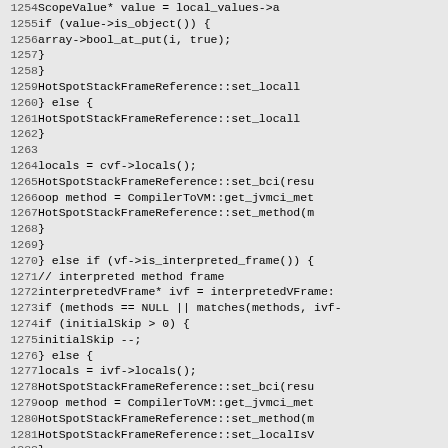Code listing lines 1254-1284, C++ source code showing HotSpotStackFrameReference operations and interpreted frame handling